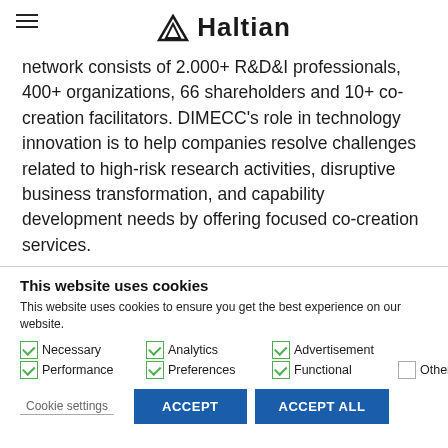Haltian
network consists of 2.000+ R&D&I professionals, 400+ organizations, 66 shareholders and 10+ co-creation facilitators. DIMECC’s role in technology innovation is to help companies resolve challenges related to high-risk research activities, disruptive business transformation, and capability development needs by offering focused co-creation services.
This website uses cookies
This website uses cookies to ensure you get the best experience on our website.
Necessary
Analytics
Advertisement
Performance
Preferences
Functional
Other
Cookie settings | ACCEPT | ACCEPT ALL